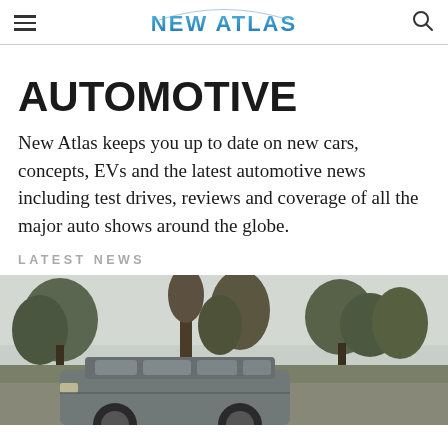NEW ATLAS
AUTOMOTIVE
New Atlas keeps you up to date on new cars, concepts, EVs and the latest automotive news including test drives, reviews and coverage of all the major auto shows around the globe.
LATEST NEWS
[Figure (photo): A vehicle (SUV/minivan) parked outdoors with trees in the background, overcast sky.]